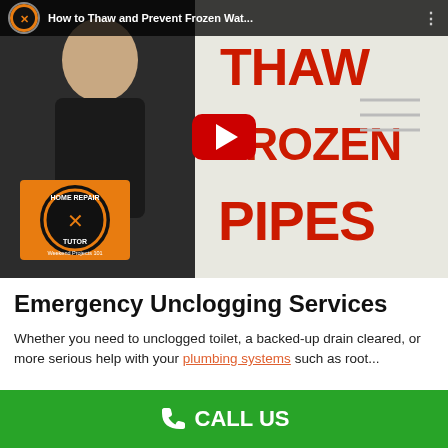[Figure (screenshot): YouTube video thumbnail showing a man beside the text THAW FROZEN PIPES in red letters, with a Home Repair Tutor logo and play button overlay. Video title bar reads 'How to Thaw and Prevent Frozen Wat...']
Emergency Unclogging Services
Whether you need to unclogged toilet, a backed-up drain cleared, or more serious help with your plumbing systems such as root...
CALL US